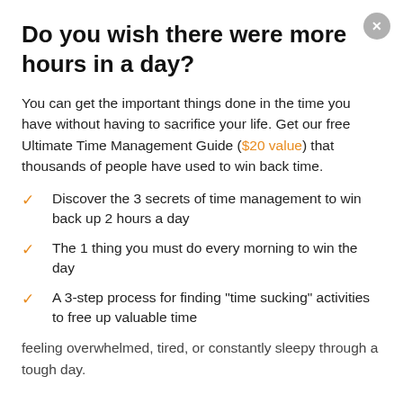Do you wish there were more hours in a day?
You can get the important things done in the time you have without having to sacrifice your life. Get our free Ultimate Time Management Guide ($20 value) that thousands of people have used to win back time.
Discover the 3 secrets of time management to win back up 2 hours a day
The 1 thing you must do every morning to win the day
A 3-step process for finding "time sucking" activities to free up valuable time
feeling overwhelmed, tired, or constantly sleepy through a tough day.